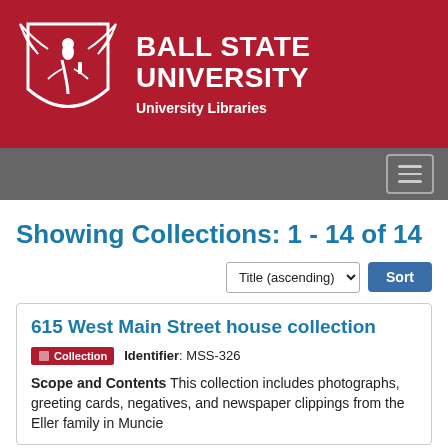[Figure (logo): Ball State University logo with winged figure on shield, text BALL STATE UNIVERSITY University Libraries on red background]
Showing Collections: 1 - 14 of 14
Title (ascending) Sort
615 West Main Street house collection
Collection   Identifier: MSS-326
Scope and Contents This collection includes photographs, greeting cards, negatives, and newspaper clippings from the Eller family in Muncie